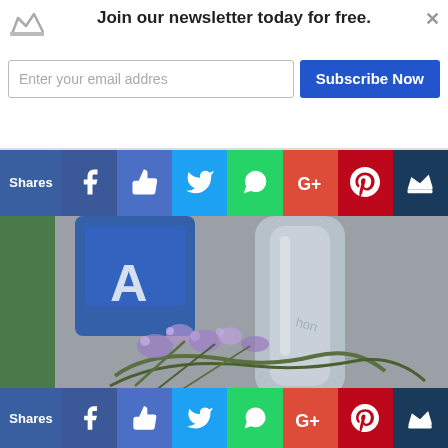Join our newsletter today for free.
[Figure (screenshot): Newsletter subscription banner with email input and Subscribe Now button]
[Figure (screenshot): Social media share buttons: Facebook, Like, Twitter, WhatsApp, Google+, Pinterest, Crown/King app]
[Figure (photo): Photo of a water bottle and lavender flowers on a surface]
10 Smashing Reasons to G...
[Figure (screenshot): Bottom social media share bar: Shares, Facebook, Like, Twitter, WhatsApp, Google+, Pinterest, Crown]